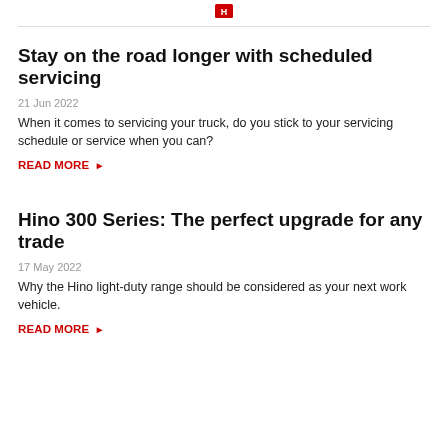[Figure (logo): Hino logo (red square with white H mark)]
Stay on the road longer with scheduled servicing
21 Jun 2022
When it comes to servicing your truck, do you stick to your servicing schedule or service when you can?
READ MORE ▶
Hino 300 Series: The perfect upgrade for any trade
17 May 2022
Why the Hino light-duty range should be considered as your next work vehicle.
READ MORE ▶